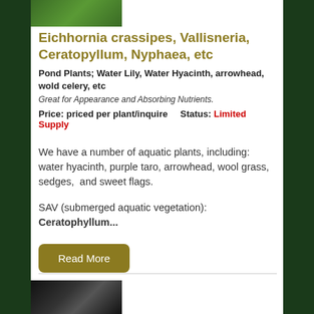[Figure (photo): Thumbnail image of aquatic plants (green leaves/vegetation) at top of listing]
Eichhornia crassipes, Vallisneria, Ceratopyllum, Nyphaea, etc
Pond Plants; Water Lily, Water Hyacinth, arrowhead, wold celery, etc
Great for Appearance and Absorbing Nutrients.
Price: priced per plant/inquire    Status: Limited Supply
We have a number of aquatic plants, including: water hyacinth, purple taro, arrowhead, wool grass, sedges,  and sweet flags.
SAV (submerged aquatic vegetation): Ceratophyllum...
Read More
[Figure (photo): Thumbnail image of fish or aquatic animal at bottom of page]